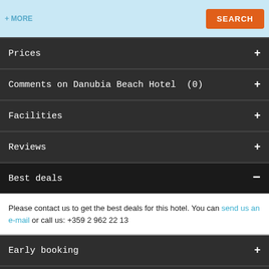+ MORE
Prices
Comments on Danubia Beach Hotel (0)
Facilities
Reviews
Best deals
Please contact us to get the best deals for this hotel. You can send us an e-mail or call us: +359 2 962 22 13
Early booking
Last minute